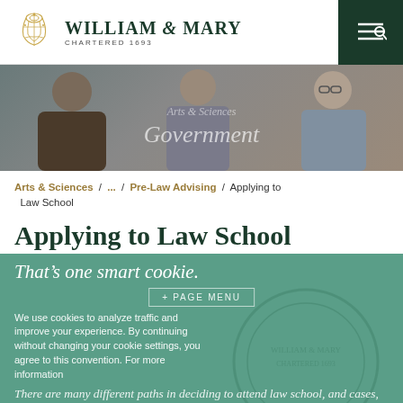[Figure (logo): William & Mary university logo with gold crest icon and text 'WILLIAM & MARY CHARTERED 1693']
[Figure (photo): Three young men sitting and talking in a meeting room. Overlay text reads 'Arts & Sciences' and 'Government' in italic serif font.]
Arts & Sciences / ... / Pre-Law Advising / Applying to Law School
Applying to Law School
That’s one smart cookie.
+ PAGE MENU
We use cookies to analyze traffic and improve your experience. By continuing without changing your cookie settings, you agree to this convention. For more information
There are many different paths in deciding to attend law school, and cases, students may not even after graduation when they